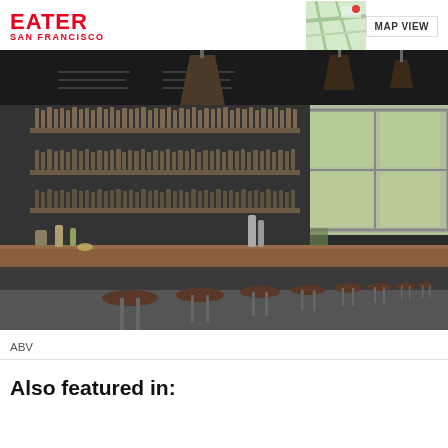EATER SAN FRANCISCO
[Figure (photo): Interior of ABV bar in San Francisco showing a long wooden bar counter with rows of bar stools, shelves lined with liquor bottles, chalkboard menus, and pendant lights]
ABV
Also featured in: